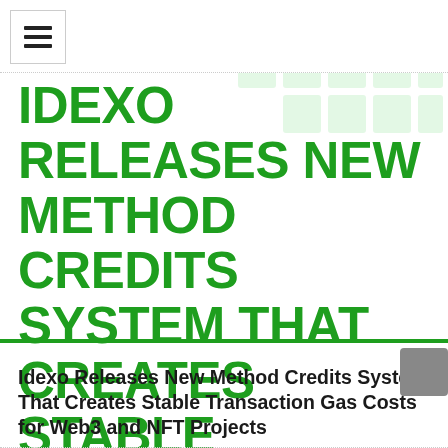IDEXO RELEASES NEW METHOD CREDITS SYSTEM THAT CREATES STABLE TRANSACTION GAS COSTS FOR WEB3 AND NFT PROJECTS
Idexo Releases New Method Credits System That Creates Stable Transaction Gas Costs for Web3 and NFT Projects